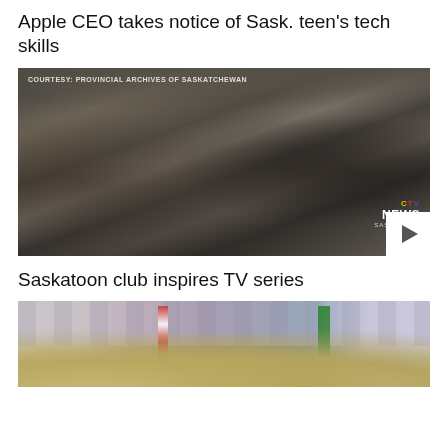Apple CEO takes notice of Sask. teen's tech skills
[Figure (photo): Black and white archival photograph showing a group of people at a formal event or dance. A courtesy tag reads 'COURTESY: PROVINCIAL ARCHIVES OF SASKATCHEWAN'. CTV News Saskatoon logo visible in lower right. A play button is present on the bottom right corner.]
Saskatoon club inspires TV series
[Figure (photo): Color photograph showing people wearing wide-brimmed cowboy/ranger hats in the foreground. Flags and a striped wall decoration visible in the background.]